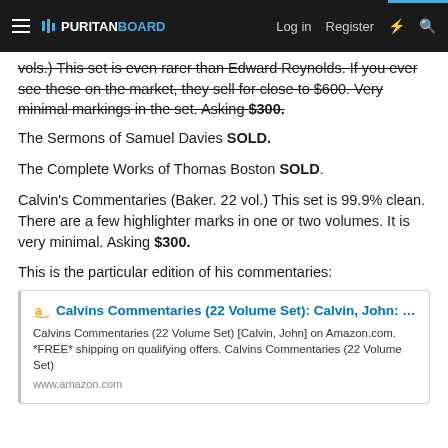PURITAN BOARD — Log in | Register
vols.) This set is even rarer than Edward Reynolds. If you ever see these on the market, they sell for close to $600. Very minimal markings in the set. Asking $300.
The Sermons of Samuel Davies SOLD.
The Complete Works of Thomas Boston SOLD.
Calvin's Commentaries (Baker. 22 vol.) This set is 99.9% clean. There are a few highlighter marks in one or two volumes. It is very minimal. Asking $300.
This is the particular edition of his commentaries:
[Figure (screenshot): Amazon product link card for Calvins Commentaries (22 Volume Set): Calvin, John: ... Calvins Commentaries (22 Volume Set) [Calvin, John] on Amazon.com. *FREE* shipping on qualifying offers. Calvins Commentaries (22 Volume Set). www.amazon.com]